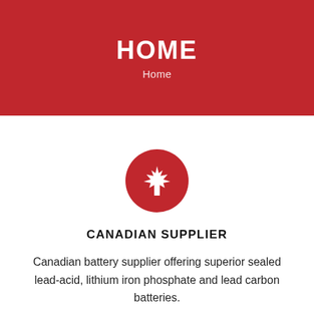HOME
Home
[Figure (illustration): Red circle with a white Canadian maple leaf icon in the center]
CANADIAN SUPPLIER
Canadian battery supplier offering superior sealed lead-acid, lithium iron phosphate and lead carbon batteries.